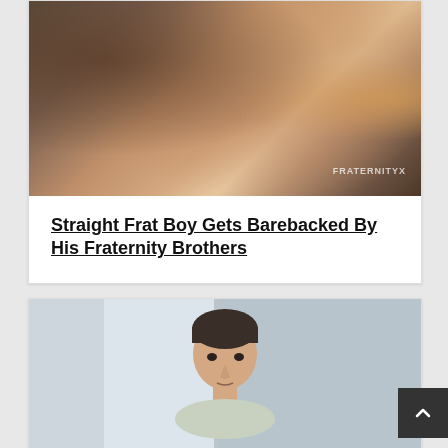[Figure (photo): Photo with FRATERNITYX watermark at bottom right]
Straight Frat Boy Gets Barebacked By His Fraternity Brothers
[Figure (photo): Photo of a young man with dark short hair against a light blue/grey background with a white panel]